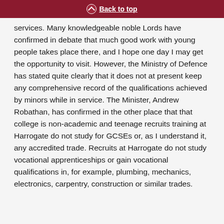Back to top
services. Many knowledgeable noble Lords have confirmed in debate that much good work with young people takes place there, and I hope one day I may get the opportunity to visit. However, the Ministry of Defence has stated quite clearly that it does not at present keep any comprehensive record of the qualifications achieved by minors while in service. The Minister, Andrew Robathan, has confirmed in the other place that that college is non-academic and teenage recruits training at Harrogate do not study for GCSEs or, as I understand it, any accredited trade. Recruits at Harrogate do not study vocational apprenticeships or gain vocational qualifications in, for example, plumbing, mechanics, electronics, carpentry, construction or similar trades.